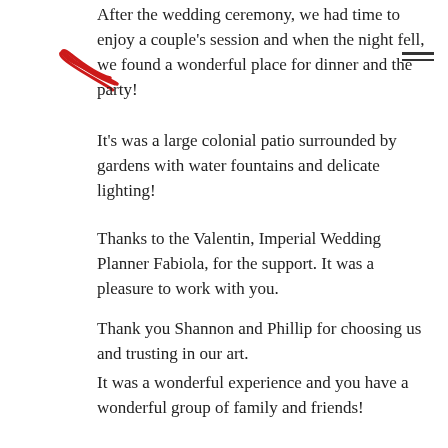After the wedding ceremony, we had time to enjoy a couple's session and when the night fell, we found a wonderful place for dinner and the party!
It's was a large colonial patio surrounded by gardens with water fountains and delicate lighting!
Thanks to the Valentin, Imperial Wedding Planner Fabiola, for the support. It was a pleasure to work with you.
Thank you Shannon and Phillip for choosing us and trusting in our art.
It was a wonderful experience and you have a wonderful group of family and friends!
We wish you eternal and infinite love!